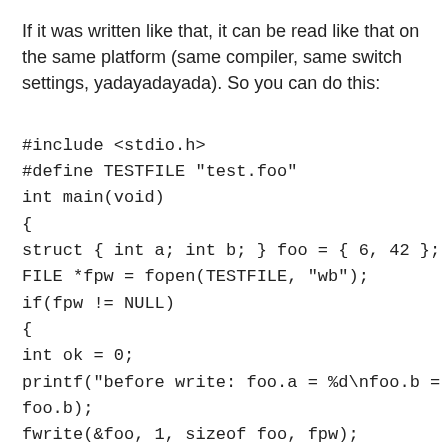If it was written like that, it can be read like that on the same platform (same compiler, same switch settings, yadayadayada). So you can do this:
#include <stdio.h>
#define TESTFILE "test.foo"
int main(void)
{
struct { int a; int b; } foo = { 6, 42 };
FILE *fpw = fopen(TESTFILE, "wb");
if(fpw != NULL)
{
int ok = 0;
printf("before write: foo.a = %d\nfoo.b = %d\n", foo.a, foo.b);
fwrite(&foo, 1, sizeof foo, fpw);